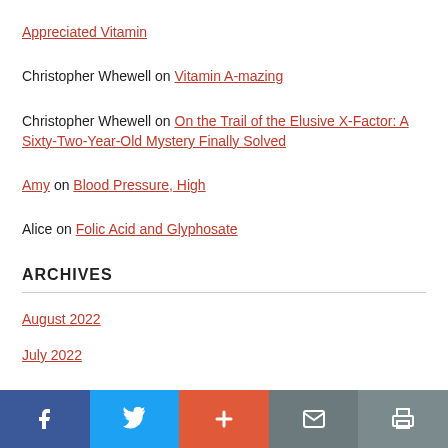Appreciated Vitamin
Christopher Whewell on Vitamin A-mazing
Christopher Whewell on On the Trail of the Elusive X-Factor: A Sixty-Two-Year-Old Mystery Finally Solved
Amy on Blood Pressure, High
Alice on Folic Acid and Glyphosate
ARCHIVES
August 2022
July 2022
Social share bar: Facebook, Twitter, Plus, Email, Print